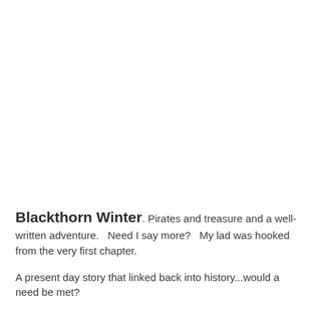Blackthorn Winter. Pirates and treasure and a well-written adventure.   Need I say more?   My lad was hooked from the very first chapter.
A present day story that linked back into history...would a need be met?